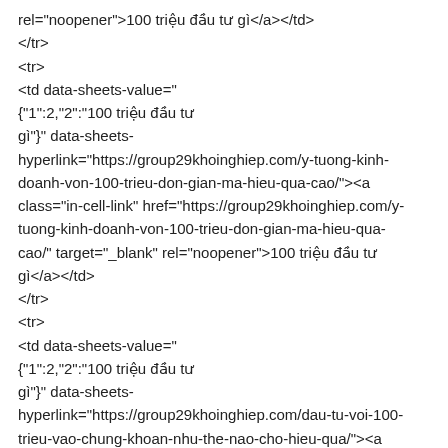rel="noopener">100 triệu đầu tư gì</a></td>
</tr>
<tr>
<td data-sheets-value="
{&quot;1&quot;:2,&quot;2&quot;:&quot;100 triệu đầu tư gì&quot;}" data-sheets-hyperlink="https://group29khoinghiep.com/y-tuong-kinh-doanh-von-100-trieu-don-gian-ma-hieu-qua-cao/"><a class="in-cell-link" href="https://group29khoinghiep.com/y-tuong-kinh-doanh-von-100-trieu-don-gian-ma-hieu-qua-cao/" target="_blank" rel="noopener">100 triệu đầu tư gì</a></td>
</tr>
<tr>
<td data-sheets-value="
{&quot;1&quot;:2,&quot;2&quot;:&quot;100 triệu đầu tư gì&quot;}" data-sheets-hyperlink="https://group29khoinghiep.com/dau-tu-voi-100-trieu-vao-chung-khoan-nhu-the-nao-cho-hieu-qua/"><a class="in-cell-link"
href="https://group29khoinghiep.com/dau-tu-voi-100-trieu-vao-chung-khoan-nhu-the-nao-cho-hieu-qua/"
target="_blank" rel="noopener">100 triệu đầu tư gì</a>
</td>